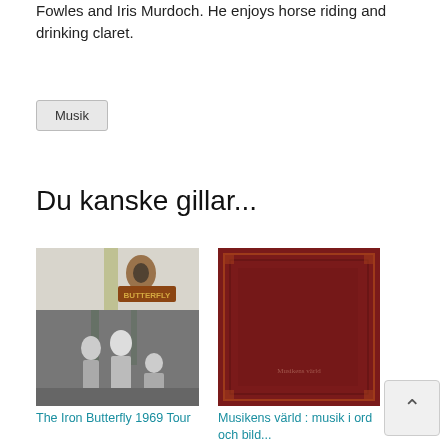Fowles and Iris Murdoch. He enjoys horse riding and drinking claret.
Musik
Du kanske gillar...
[Figure (photo): Album cover for The Iron Butterfly 1969 Tour — grayscale photo of band members outdoors with stylized logo on top]
The Iron Butterfly 1969 Tour
[Figure (photo): Dark red/maroon hardcover book with decorative border — Musikens värld: musik i ord och bild]
Musikens värld : musik i ord och bild...